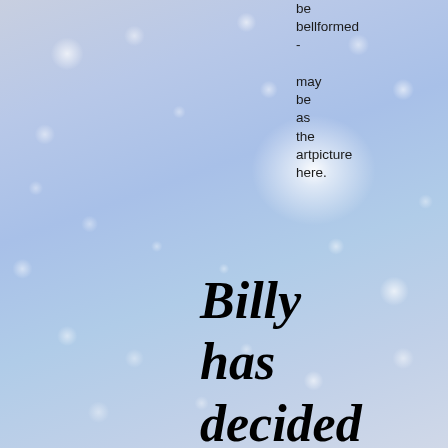be bellformed - may be as the artpicture here.
Billy has decided not to